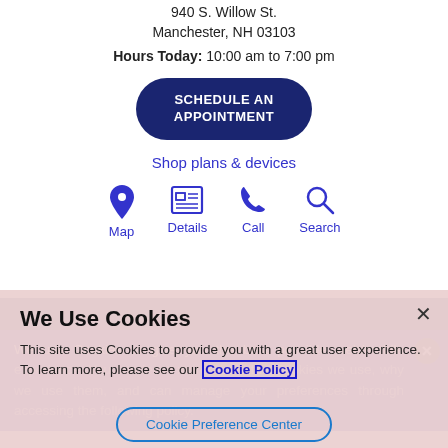940 S. Willow St.
Manchester, NH 03103
Hours Today: 10:00 am to 7:00 pm
SCHEDULE AN APPOINTMENT
Shop plans & devices
[Figure (infographic): Four icon links: Map, Details, Call, Search — each with a blue icon above its label]
We use Cookies to give you the best possible web/mobile experience. You can learn more about the Cookies we use, why we use them, and can manage your preferences through accessing the following policy.
We Use Cookies
This site uses Cookies to provide you with a great user experience. To learn more, please see our Cookie Policy
Cookie Preference Center